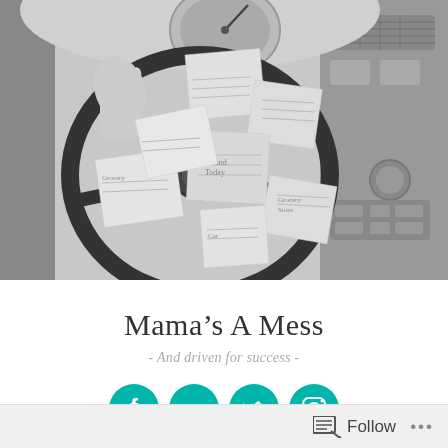[Figure (photo): Black and white photo of a car steering wheel covered with multiple sticky notes/paper notes with handwritten text, with car dashboard and vents visible in the background. A hand is visible on the steering wheel.]
Mama’s A Mess
- And driven for success -
[Figure (other): Row of four teal/turquoise circular social media icons: Facebook, LinkedIn, Twitter, Instagram]
Follow ...